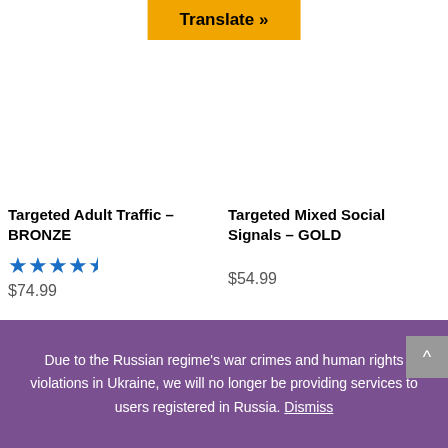[Figure (other): Orange Translate button at top center]
Targeted Adult Traffic – BRONZE
[Figure (other): Five blue stars rating]
$74.99
Targeted Mixed Social Signals – GOLD
$54.99
[Figure (other): Targeted Email Traffic Silver product box with rainbow disc bar]
[Figure (other): SEO chart/graph product image]
Due to the Russian regime's war crimes and human rights violations in Ukraine, we will no longer be providing services to users registered in Russia. Dismiss